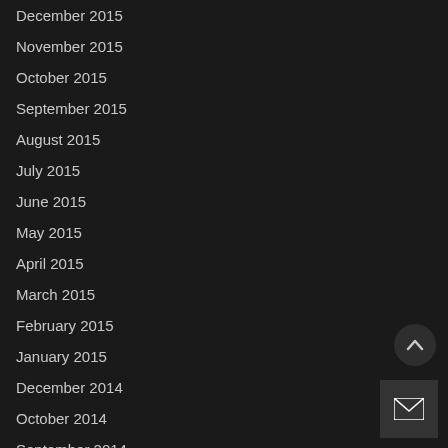December 2015
November 2015
October 2015
September 2015
August 2015
July 2015
June 2015
May 2015
April 2015
March 2015
February 2015
January 2015
December 2014
October 2014
September 2014
August 2014
July 2014